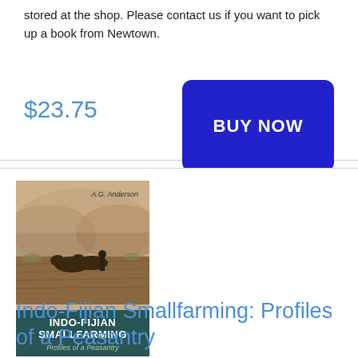stored at the shop. Please contact us if you want to pick up a book from Newtown.
$23.75
[Figure (other): Blue BUY NOW button]
[Figure (photo): Book cover of Indo-Fijian Smallfarming: Profiles of a Peasantry by A.G. Anderson. Shows a sepia photograph of oxen plowing a field with mountains in background. Dark teal banner at bottom with title text.]
Indo-Fijian Smallfarming: Profiles of a Peasantry